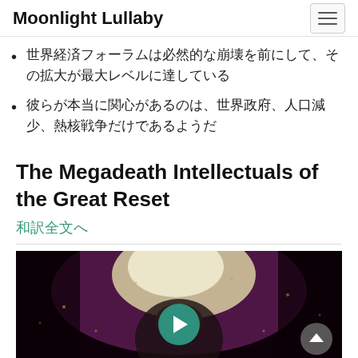Moonlight Lullaby
世界経済フォーラムは必然的な崩壊を前にして、その拡大が最大レベルに達している
彼らが本当に関心があるのは、世界政府、人口減少、熱核戦争だけであるようだ
The Megadeath Intellectuals of the Great Reset
和訳全文へ
[Figure (photo): Video thumbnail showing a person's face with a dramatic nuclear explosion mushroom cloud background, with a teal play button overlay in the center]